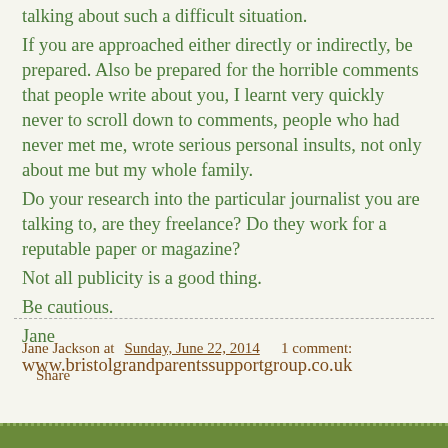talking about such a difficult situation.
If you are approached either directly or indirectly, be prepared. Also be prepared for the horrible comments that people write about you, I learnt very quickly never to scroll down to comments, people who had never met me, wrote serious personal insults, not only about me but my whole family.
Do your research into the particular journalist you are talking to, are they freelance? Do they work for a reputable paper or magazine?
Not all publicity is a good thing.
Be cautious.
Jane
www.bristolgrandparentssupportgroup.co.uk
Jane Jackson at Sunday, June 22, 2014   1 comment:
Share